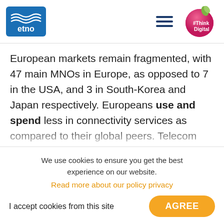etno logo | hamburger menu | #ThinkDigital
European markets remain fragmented, with 47 main MNOs in Europe, as opposed to 7 in the USA, and 3 in South-Korea and Japan respectively. Europeans use and spend less in connectivity services as compared to their global peers. Telecom service revenues
We use cookies to ensure you get the best experience on our website.
Read more about our policy privacy
I accept cookies from this site  AGREE